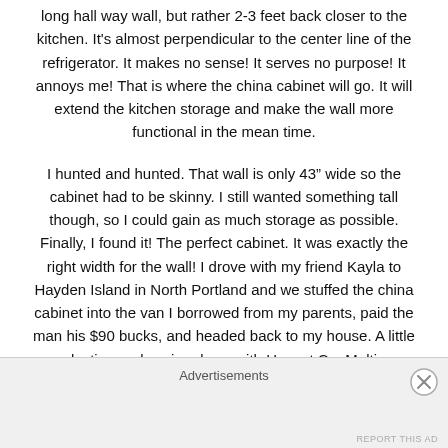long hall way wall, but rather 2-3 feet back closer to the kitchen. It's almost perpendicular to the center line of the refrigerator. It makes no sense! It serves no purpose! It annoys me! That is where the china cabinet will go. It will extend the kitchen storage and make the wall more functional in the mean time.
I hunted and hunted. That wall is only 43" wide so the cabinet had to be skinny. I still wanted something tall though, so I could gain as much storage as possible. Finally, I found it! The perfect cabinet. It was exactly the right width for the wall! I drove with my friend Kayla to Hayden Island in North Portland and we stuffed the china cabinet into the van I borrowed from my parents, paid the man his $90 bucks, and headed back to my house. A little dusting and a wipe down with Honest Co. Multi-
Advertisements